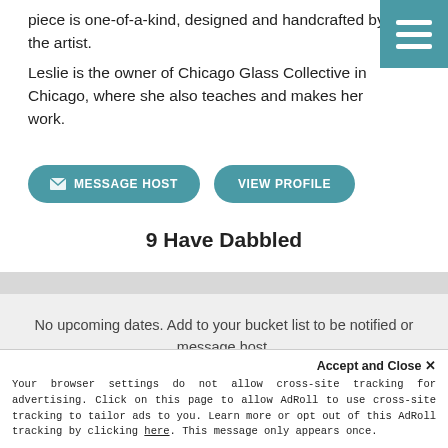piece is one-of-a-kind, designed and handcrafted by the artist.
Leslie is the owner of Chicago Glass Collective in Chicago, where she also teaches and makes her work.
MESSAGE HOST  VIEW PROFILE
9 Have Dabbled
No upcoming dates. Add to your bucket list to be notified or message host.
BRING IT BACK   ♡ Favorite
Accept and Close ✕
Your browser settings do not allow cross-site tracking for advertising. Click on this page to allow AdRoll to use cross-site tracking to tailor ads to you. Learn more or opt out of this AdRoll tracking by clicking here. This message only appears once.